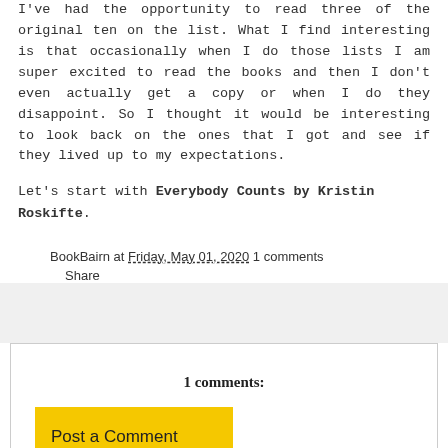I've had the opportunity to read three of the original ten on the list. What I find interesting is that occasionally when I do those lists I am super excited to read the books and then I don't even actually get a copy or when I do they disappoint. So I thought it would be interesting to look back on the ones that I got and see if they lived up to my expectations.
Let's start with Everybody Counts by Kristin Roskifte.
BookBairn at Friday, May 01, 2020 1 comments
Share
1 comments:
Post a Comment